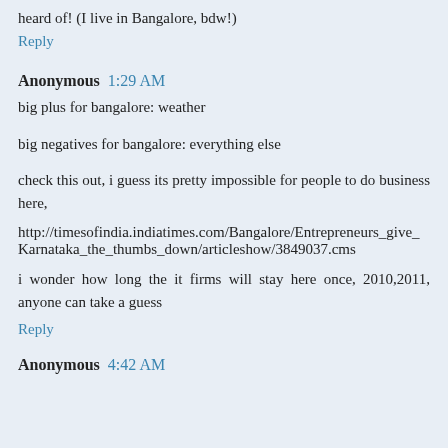heard of! (I live in Bangalore, bdw!)
Reply
Anonymous  1:29 AM
big plus for bangalore: weather
big negatives for bangalore: everything else
check this out, i guess its pretty impossible for people to do business here,
http://timesofindia.indiatimes.com/Bangalore/Entrepreneurs_give_Karnataka_the_thumbs_down/articleshow/3849037.cms
i wonder how long the it firms will stay here once, 2010,2011, anyone can take a guess
Reply
Anonymous  4:42 AM